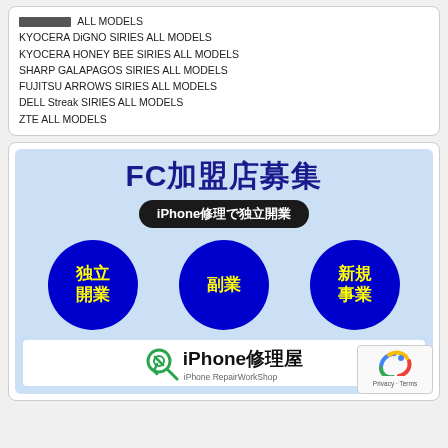[REDACTED] ALL MODELS
KYOCERA DiGNO SIRIES ALL MODELS
KYOCERA HONEY BEE SIRIES ALL MODELS
SHARP GALAPAGOS SIRIES ALL MODELS
FUJITSU ARROWS SIRIES ALL MODELS
DELL Streak SIRIES ALL MODELS
ZTE ALL MODELS
[Figure (infographic): FC加盟店募集 advertisement banner. Blue background with dark blue title text 'FC加盟店募集', black rounded rectangle subtitle 'iPhone修理で独立開業', three blue circles with yellow Japanese text: 独立開業, 副業, 新規事業. Footer shows iPhone修理屋 logo with green wrench icon and 'iPhone RepairWorkShop' text.]